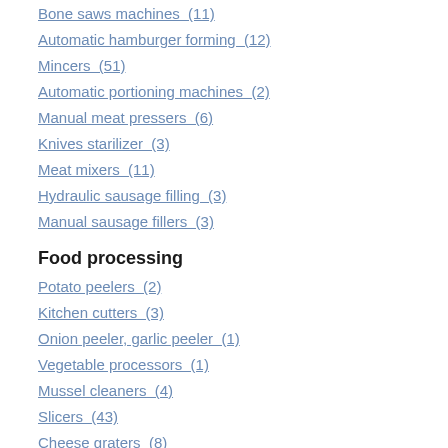Bone saws machines  (11)
Automatic hamburger forming  (12)
Mincers  (51)
Automatic portioning machines  (2)
Manual meat pressers  (6)
Knives starilizer  (3)
Meat mixers  (11)
Hydraulic sausage filling  (3)
Manual sausage fillers  (3)
Food processing
Potato peelers  (2)
Kitchen cutters  (3)
Onion peeler, garlic peeler  (1)
Vegetable processors  (1)
Mussel cleaners  (4)
Slicers  (43)
Cheese graters  (8)